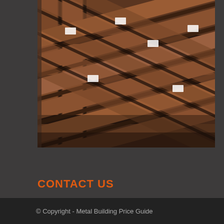[Figure (photo): Aerial/overhead view of stacked rusty brown steel I-beams and structural metal components in a warehouse or yard setting]
CONTACT US
Phone: 1-720-706-4331
© Copyright - Metal Building Price Guide